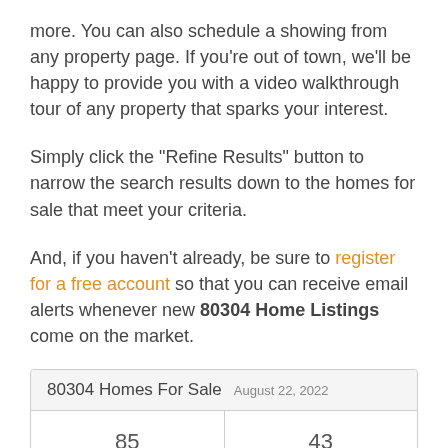more. You can also schedule a showing from any property page. If you're out of town, we'll be happy to provide you with a video walkthrough tour of any property that sparks your interest.
Simply click the "Refine Results" button to narrow the search results down to the homes for sale that meet your criteria.
And, if you haven't already, be sure to register for a free account so that you can receive email alerts whenever new 80304 Home Listings come on the market.
| 80304 Homes For Sale  August 22, 2022 |
| --- |
| 85 | 43 |